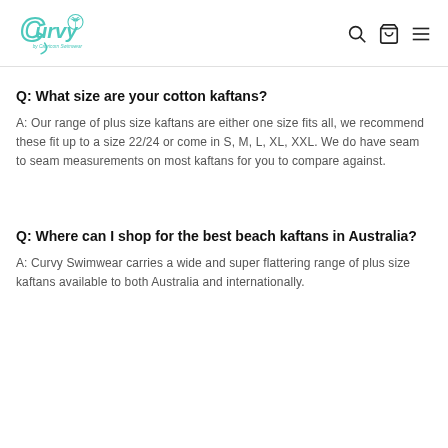Curvy Swimwear logo and navigation icons
Q: What size are your cotton kaftans?
A: Our range of plus size kaftans are either one size fits all, we recommend these fit up to a size 22/24 or come in S, M, L, XL, XXL. We do have seam to seam measurements on most kaftans for you to compare against.
Q: Where can I shop for the best beach kaftans in Australia?
A: Curvy Swimwear carries a wide and super flattering range of plus size kaftans available to both Australia and internationally.